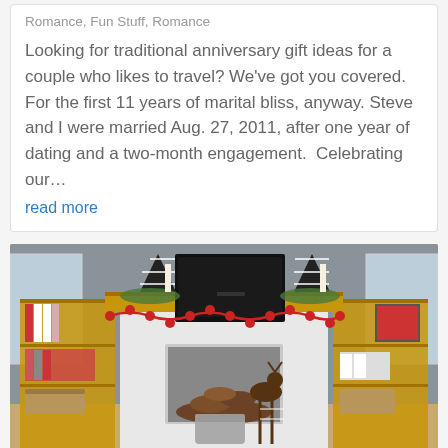Romance, Fun Stuff, Romance
Looking for traditional anniversary gift ideas for a couple who likes to travel? We've got you covered. For the first 11 years of marital bliss, anyway. Steve and I were married Aug. 27, 2011, after one year of dating and a two-month engagement.  Celebrating our…
read more
[Figure (photo): A living room scene with a white brick fireplace decorated for Christmas. A wooden mantel holds a TV, black-and-white plaid Christmas trees, candles, and greenery. A red pom-pom garland hangs from the mantel edge. On either side are wooden bookshelves with books, baskets, and holiday decorations. A reindeer figurine stands in front of the fireplace.]